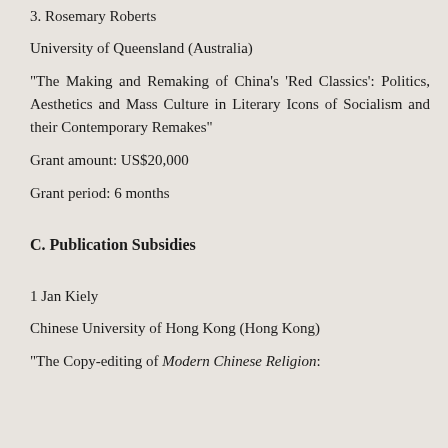3. Rosemary Roberts
University of Queensland (Australia)
“The Making and Remaking of China’s ‘Red Classics’: Politics, Aesthetics and Mass Culture in Literary Icons of Socialism and their Contemporary Remakes”
Grant amount: US$20,000
Grant period: 6 months
C. Publication Subsidies
1 Jan Kiely
Chinese University of Hong Kong (Hong Kong)
“The Copy-editing of Modern Chinese Religion: